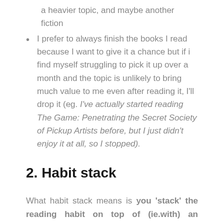a heavier topic, and maybe another fiction
I prefer to always finish the books I read because I want to give it a chance but if i find myself struggling to pick it up over a month and the topic is unlikely to bring much value to me even after reading it, I'll drop it (eg. I've actually started reading The Game: Penetrating the Secret Society of Pickup Artists before, but I just didn't enjoy it at all, so I stopped).
2. Habit stack
What habit stack means is you 'stack' the reading habit on top of (ie.with) an existing habit that you already have and enjoy. Example, you find yourself watching Netflix everytime before you sleep. So then make it a point to read 1 chapter and then you can